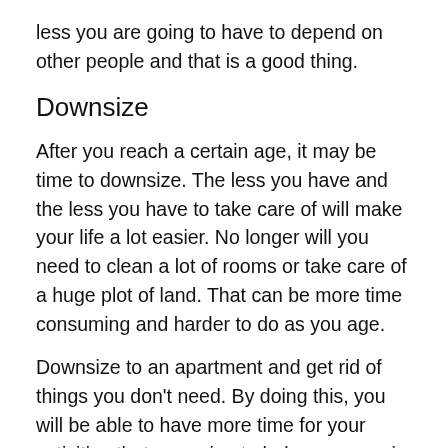less you are going to have to depend on other people and that is a good thing.
Downsize
After you reach a certain age, it may be time to downsize. The less you have and the less you have to take care of will make your life a lot easier. No longer will you need to clean a lot of rooms or take care of a huge plot of land. That can be more time consuming and harder to do as you age.
Downsize to an apartment and get rid of things you don't need. By doing this, you will be able to have more time for your activities that are going to help you more in the long run. It is hard to say good-bye but you will be saying hello to a whole